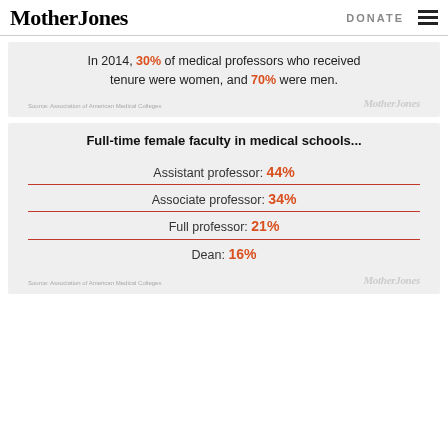Mother Jones | DONATE
In 2014, 30% of medical professors who received tenure were women, and 70% were men.
Source: Association of American Medical Colleges
Full-time female faculty in medical schools...
Assistant professor: 44%
Associate professor: 34%
Full professor: 21%
Dean: 16%
Source: Association of American Medical Colleges